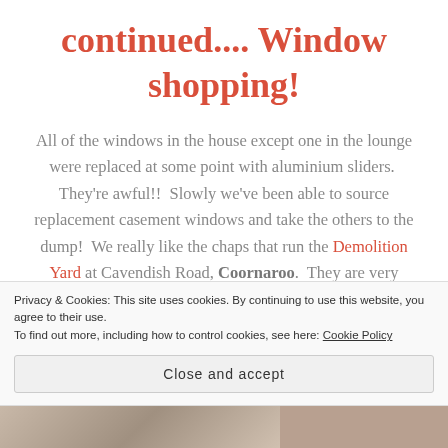continued.... Window shopping!
All of the windows in the house except one in the lounge were replaced at some point with aluminium sliders.  They're awful!!  Slowly we've been able to source replacement casement windows and take the others to the dump!  We really like the chaps that run the Demolition Yard at Cavendish Road, Coornaroo.  They are very helpful and its very easy
Privacy & Cookies: This site uses cookies. By continuing to use this website, you agree to their use.
To find out more, including how to control cookies, see here: Cookie Policy
Close and accept
[Figure (photo): Bottom strip showing a partial outdoor/building photograph]